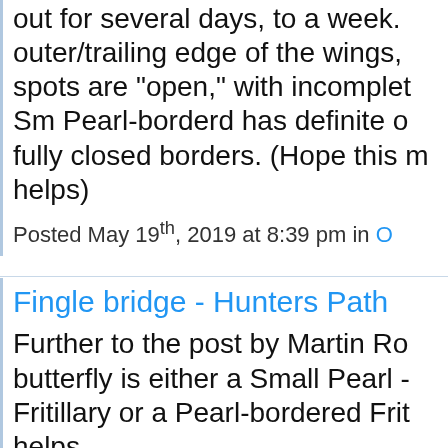out for several days, to a week. outer/trailing edge of the wings, spots are "open," with incomplet Sm Pearl-borderd has definite o fully closed borders. (Hope this m helps)
Posted May 19th, 2019 at 8:39 pm in O
Fingle bridge - Hunters Path
Further to the post by Martin Ro butterfly is either a Small Pearl - Fritillary or a Pearl-bordered Frit helps